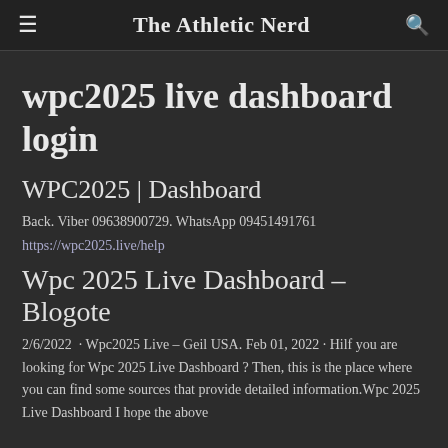The Athletic Nerd
wpc2025 live dashboard login
WPC2025 | Dashboard
Back. Viber 09638900729. WhatsApp 09451491761
https://wpc2025.live/help
Wpc 2025 Live Dashboard – Blogote
2/6/2022  · Wpc2025 Live – Geil USA. Feb 01, 2022 · Hilf you are looking for Wpc 2025 Live Dashboard ? Then, this is the place where you can find some sources that provide detailed information.Wpc 2025 Live Dashboard I hope the above